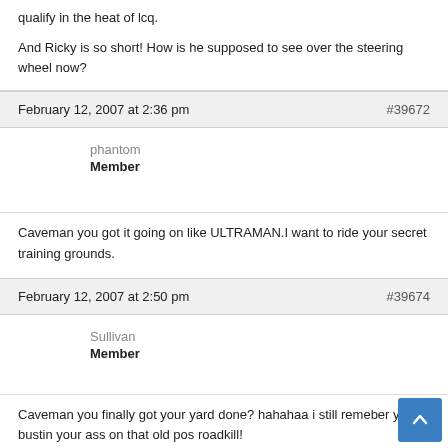qualify in the heat of lcq.

And Ricky is so short! How is he supposed to see over the steering wheel now?
February 12, 2007 at 2:36 pm   #39672
phantom
Member
Caveman you got it going on like ULTRAMAN.I want to ride your secret training grounds.
February 12, 2007 at 2:50 pm   #39674
Sullivan
Member
Caveman you finally got your yard done? hahahaa i still remeber you bustin your ass on that old pos roadkill!